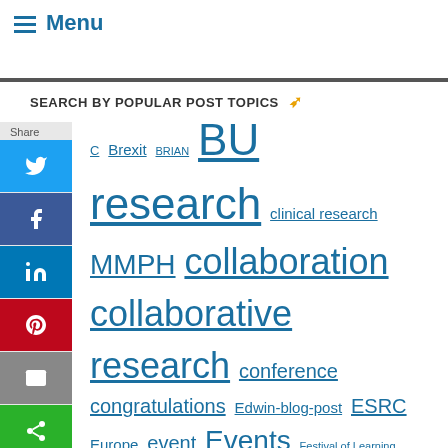≡ Menu
SEARCH BY POPULAR POST TOPICS
Share
C Brexit BRIAN BU research clinical research MMPH collaboration collaborative research conference congratulations Edwin-blog-post ESRC Europe event Events Festival of Learning funding funding opportunities Fusion Fusion Investment Fund Health izon 2020 HSC impact innovation knowledge exchange media midwifery Nepal nhs NIHR open access Prof. Edwin van Teijlingen publication public engagement